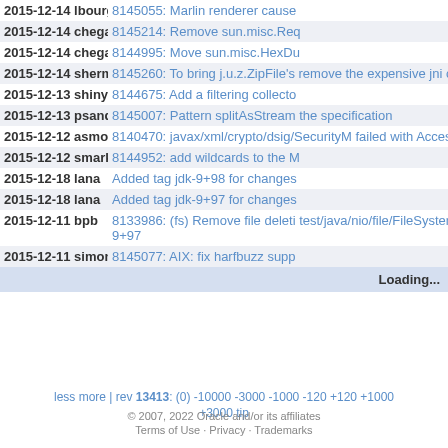| Date Author | Description |
| --- | --- |
| 2015-12-14 lbourges | 8145055: Marlin renderer cause |
| 2015-12-14 chegar | 8145214: Remove sun.misc.Req |
| 2015-12-14 chegar | 8144995: Move sun.misc.HexDu |
| 2015-12-14 sherman | 8145260: To bring j.u.z.ZipFile's remove the expensive jni cost a |
| 2015-12-13 shinyafox | 8144675: Add a filtering collecto |
| 2015-12-13 psandoz | 8145007: Pattern splitAsStream the specification |
| 2015-12-12 asmotrak | 8140470: javax/xml/crypto/dsig/SecurityM failed with AccessControlExcepti |
| 2015-12-12 smarks | 8144952: add wildcards to the M |
| 2015-12-18 lana | Added tag jdk-9+98 for changes |
| 2015-12-18 lana | Added tag jdk-9+97 for changes |
| 2015-12-11 bpb | 8133986: (fs) Remove file deleti test/java/nio/file/FileSystem/Basi 9+97 |
| 2015-12-11 simonis | 8145077: AIX: fix harfbuzz supp |
|  | Loading... |
less more | rev 13413: (0) -10000 -3000 -1000 -120 +120 +1000 +3000 tip
© 2007, 2022 Oracle and/or its affiliates · Terms of Use · Privacy · Trademarks